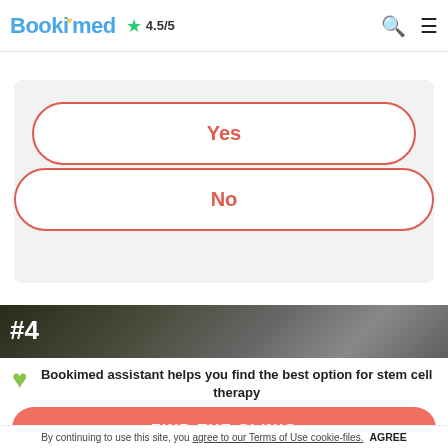Bookimed ★ 4.5/5
or allergies?
Yes
No
[Figure (photo): Dark exterior photo of a clinic building with #4 label overlay]
Bookimed assistant helps you find the best option for stem cell therapy
FIND THE CLINIC
By continuing to use this site, you agree to our Terms of Use cookie-files. AGREE